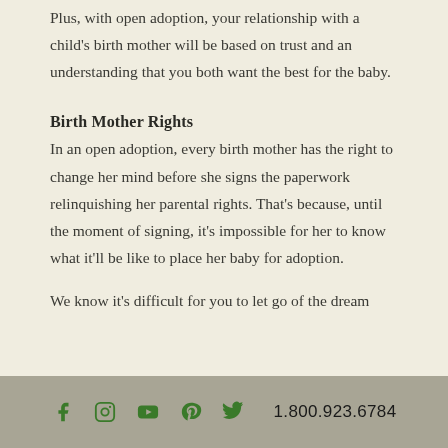Plus, with open adoption, your relationship with a child's birth mother will be based on trust and an understanding that you both want the best for the baby.
Birth Mother Rights
In an open adoption, every birth mother has the right to change her mind before she signs the paperwork relinquishing her parental rights. That's because, until the moment of signing, it's impossible for her to know what it'll be like to place her baby for adoption.
We know it's difficult for you to let go of the dream
f  [instagram]  [youtube]  p  [twitter]  1.800.923.6784